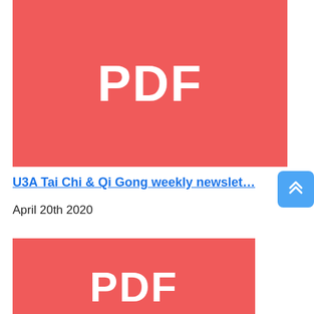[Figure (other): Red rectangle PDF thumbnail icon with white bold text 'PDF' centered]
U3A Tai Chi & Qi Gong weekly newsletter
April 20th 2020
[Figure (other): Red rectangle PDF thumbnail icon with white bold text 'PDF' partially visible at bottom]